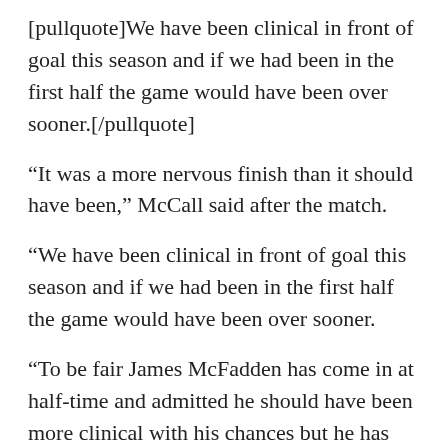[pullquote]We have been clinical in front of goal this season and if we had been in the first half the game would have been over sooner.[/pullquote]
“It was a more nervous finish than it should have been,” McCall said after the match.
“We have been clinical in front of goal this season and if we had been in the first half the game would have been over sooner.
“To be fair James McFadden has come in at half-time and admitted he should have been more clinical with his chances but he has grabbed the opener.
“You always think it could come back and bite you when you don’t take your chances and it would have been a travesty if we hadn’t taken all three so we are